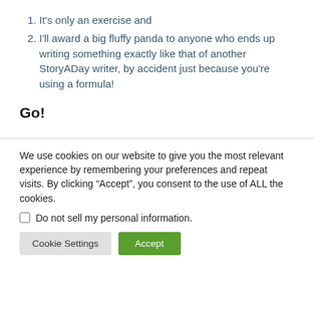It's only an exercise and
I'll award a big fluffy panda to anyone who ends up writing something exactly like that of another StoryADay writer, by accident just because you're using a formula!
Go!
We use cookies on our website to give you the most relevant experience by remembering your preferences and repeat visits. By clicking “Accept”, you consent to the use of ALL the cookies.
Do not sell my personal information.
Cookie Settings   Accept